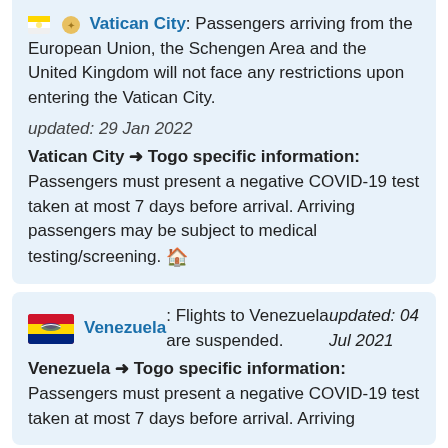Vatican City: Passengers arriving from the European Union, the Schengen Area and the United Kingdom will not face any restrictions upon entering the Vatican City. updated: 29 Jan 2022 Vatican City → Togo specific information: Passengers must present a negative COVID-19 test taken at most 7 days before arrival. Arriving passengers may be subject to medical testing/screening.
Venezuela: Flights to Venezuela are suspended. updated: 04 Jul 2021 Venezuela → Togo specific information: Passengers must present a negative COVID-19 test taken at most 7 days before arrival. Arriving